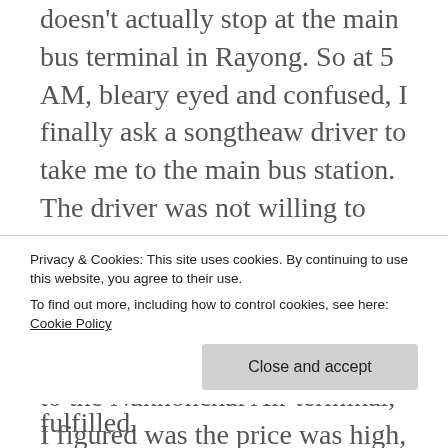doesn't actually stop at the main bus terminal in Rayong. So at 5 AM, bleary eyed and confused, I finally ask a songtheaw driver to take me to the main bus station. The driver was not willing to bargain on the fare, insisting on charging me 150 baht (about $5). Based on where Ocha said the main bus station was relative to the Nakhonchai Air terminal, I figured was the price was high, but what is a couple of dollars when you are tired and confused. The driver took me to the terminal located inside the city about 10 blocks away. Upon arrival, I watched him laugh about the
Privacy & Cookies: This site uses cookies. By continuing to use this website, you agree to their use.
To find out more, including how to control cookies, see here: Cookie Policy
returned to him ten-fold was fulfilled.